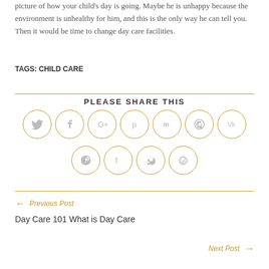picture of how your child's day is going. Maybe he is unhappy because the environment is unhealthy for him, and this is the only way he can tell you. Then it would be time to change day care facilities.
TAGS: CHILD CARE
PLEASE SHARE THIS
[Figure (infographic): Social media share buttons in orange circles: Twitter, Facebook, Google+, Pinterest, LinkedIn, Phone, VK (top row); Reddit, Tumblr, Delicious, WhatsApp (bottom row)]
← Previous Post
Day Care 101 What is Day Care
Next Post →